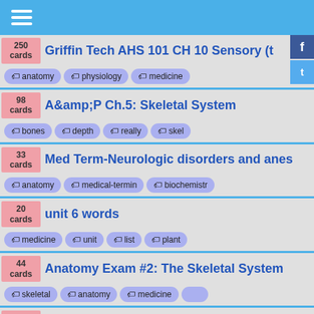Navigation menu
250 cards — Griffin Tech AHS 101 CH 10 Sensory (t — tags: anatomy, physiology, medicine
98 cards — A&P Ch.5: Skeletal System — tags: bones, depth, really, skel
33 cards — Med Term-Neurologic disorders and anes — tags: anatomy, medical-termin, biochemistr
20 cards — unit 6 words — tags: medicine, unit, list, plant
44 cards — Anatomy Exam #2: The Skeletal System — tags: skeletal, anatomy, medicine
48 cards — 2nd bio exam — tags: anatomy, chemistry, european
52 cards — PY 1 Exam 2 Review: Memory